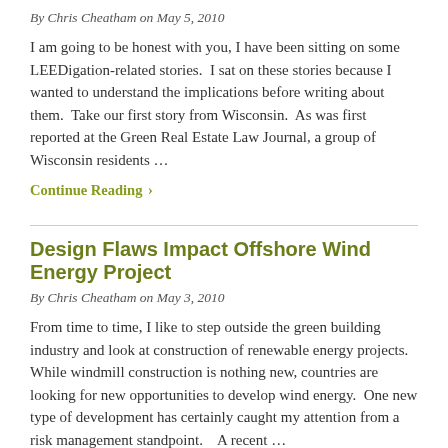By Chris Cheatham on May 5, 2010
I am going to be honest with you, I have been sitting on some LEEDigation-related stories.  I sat on these stories because I wanted to understand the implications before writing about them.  Take our first story from Wisconsin.  As was first reported at the Green Real Estate Law Journal, a group of Wisconsin residents …
Continue Reading ›
Design Flaws Impact Offshore Wind Energy Project
By Chris Cheatham on May 3, 2010
From time to time, I like to step outside the green building industry and look at construction of renewable energy projects.  While windmill construction is nothing new, countries are looking for new opportunities to develop wind energy.  One new type of development has certainly caught my attention from a risk management standpoint.    A recent …
Continue Reading ›